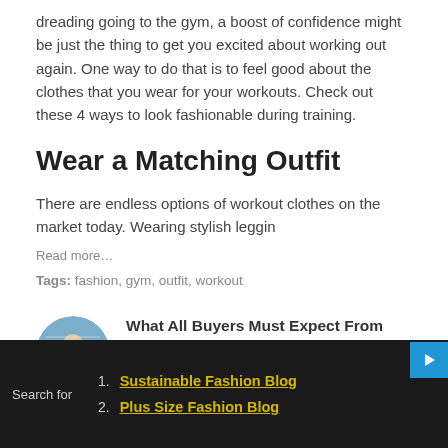dreading going to the gym, a boost of confidence might be just the thing to get you excited about working out again. One way to do that is to feel good about the clothes that you wear for your workouts. Check out these 4 ways to look fashionable during training.
Wear a Matching Outfit
There are endless options of workout clothes on the market today. Wearing stylish leggin
Read more…
Tags: fashion, gym, outfit, workout
What All Buyers Must Expect From Fitness Clothing Manufacturers
Posted by Alanic Global on July 19, 2019 at 12:55am
1. Sustainable Fashion Blog
2. Plus Size Fashion Blog